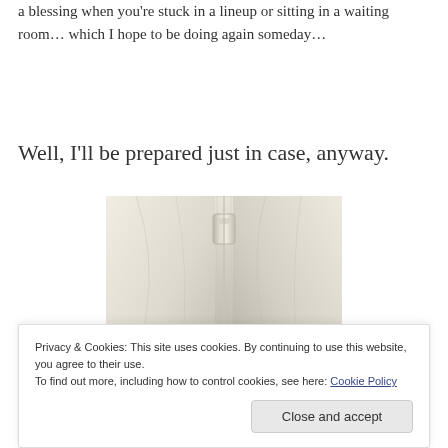a blessing when you're stuck in a lineup or sitting in a waiting room… which I hope to be doing again someday…
Well, I'll be prepared just in case, anyway.
[Figure (photo): Close-up photo of a white or cream-colored leather jacket with a zipper visible at the center top]
Privacy & Cookies: This site uses cookies. By continuing to use this website, you agree to their use.
To find out more, including how to control cookies, see here: Cookie Policy